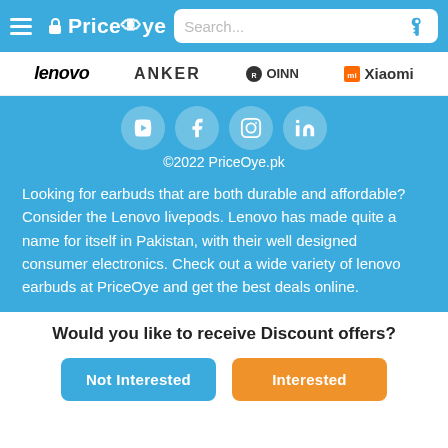PriceOye — Search bar
[Figure (logo): Brand logos row: Lenovo, ANKER, Ronin, Xiaomi]
[Figure (infographic): Social media icons: YouTube, Facebook, Instagram, LinkedIn in blue circles]
©2022 PriceOye.pk
Looking for earbuds that are both durable and affordable? Consider the Lenovo livepods. Lenovo has made quite a name for itself in Pakistan, with their well designed consumer electronics. Check out a wide variety of lenovo earbuds at PriceOye and get the best deals online.
Would you like to receive Discount offers?
Not Interested
Interested